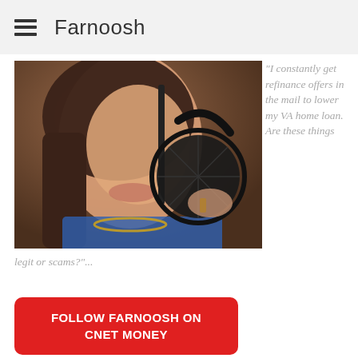Farnoosh
[Figure (photo): Woman speaking into a microphone with pop filter, wearing a blue top and gold necklace, in a recording studio setting]
"I constantly get refinance offers in the mail to lower my VA home loan. Are these things legit or scams?"...
FOLLOW FARNOOSH ON CNET MONEY